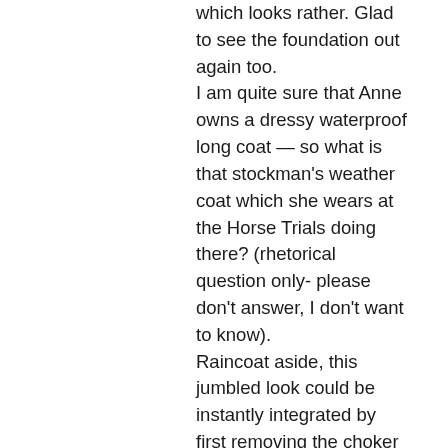which looks rather. Glad to see the foundation out again too. I am quite sure that Anne owns a dressy waterproof long coat — so what is that stockman's weather coat which she wears at the Horse Trials doing there? (rhetorical question only- please don't answer, I don't want to know). Raincoat aside, this jumbled look could be instantly integrated by first removing the choker necklace. Camilla, queen of the pearl chokers, knows that if you're going to wear one of these beauties you can't have competing focal points, such as a gold horse brooch in the very centre(!) of your head — plus, a boldly patterned dress nearby – plus a blue flower also in the centre (!) line of her torso. Camilla also knows that tight, high chokers are unflattering on the mature